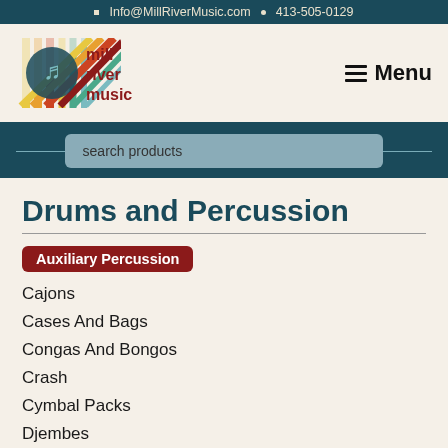Info@MillRiverMusic.com  •  413-505-0129
[Figure (logo): Mill River Music logo with colorful diagonal stripes and guitar icon, with 'mill river music' text]
Menu
search products
Drums and Percussion
Auxiliary Percussion
Cajons
Cases And Bags
Congas And Bongos
Crash
Cymbal Packs
Djembes
Drum Machines And Samplers
Drum Sticks And Mallets